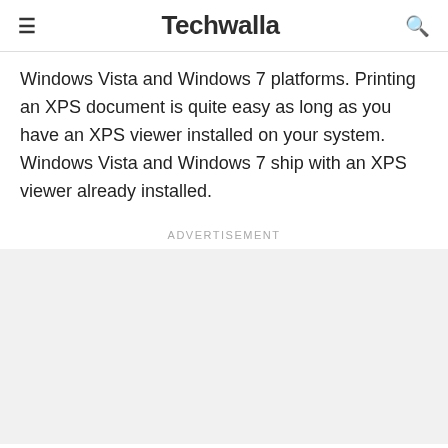Techwalla
Windows Vista and Windows 7 platforms. Printing an XPS document is quite easy as long as you have an XPS viewer installed on your system. Windows Vista and Windows 7 ship with an XPS viewer already installed.
Advertisement